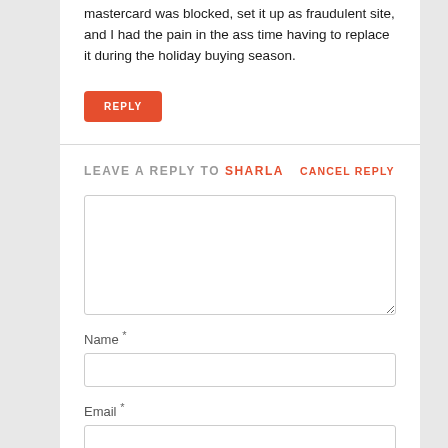mastercard was blocked, set it up as fraudulent site, and I had the pain in the ass time having to replace it during the holiday buying season.
REPLY
LEAVE A REPLY TO SHARLA   CANCEL REPLY
Name *
Email *